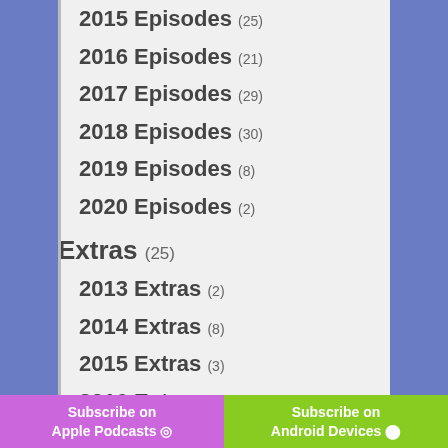2015 Episodes (25)
2016 Episodes (21)
2017 Episodes (29)
2018 Episodes (30)
2019 Episodes (8)
2020 Episodes (2)
Extras (25)
2013 Extras (2)
2014 Extras (8)
2015 Extras (3)
2016 Extras (3)
2017 Extras (6)
Subscribe on Apple Podcasts | Subscribe on Android Devices